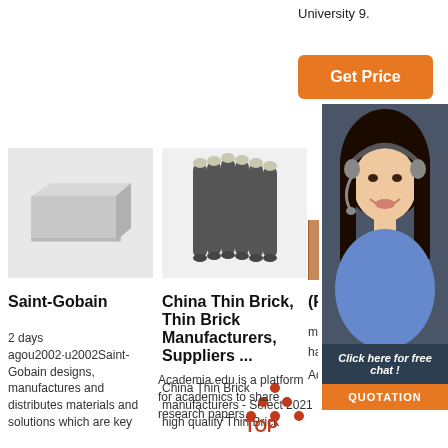University 9.
[Figure (other): Orange 'Get Price' button]
[Figure (other): Dark panel with '24/7 Online' text and photo of female customer service representative with headset, with 'Click here for free chat!' text and orange QUOTATION button]
[Figure (photo): Saint-Gobain grey brick product image]
[Figure (photo): China Thin Brick grey cylindrical rods product image]
[Figure (photo): Brown/rust brick tile product image (partially obscured)]
Saint-Gobain
2 days agou2002·u2002Saint-Gobain designs, manufactures and distributes materials and solutions which are key
China Thin Brick, Thin Brick Manufacturers, Suppliers ...
China Thin Brick manufacturers - Select 2021 high quality Thin Brick
(PDF mate... hand...
Academia.edu is a platform for academics to share research papers.
[Figure (logo): TOP logo with red/orange dots arranged in triangle pattern and 'TOP' text]